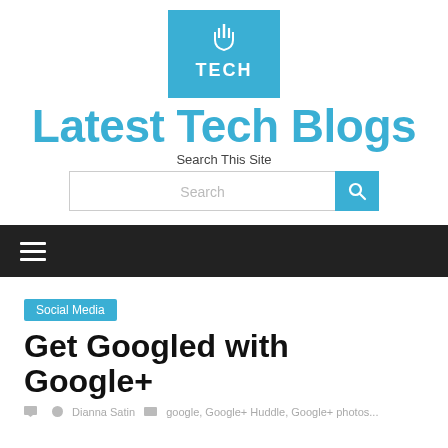[Figure (logo): Blue square logo with hand/touch icon and 'TECH' text in white on teal/blue background]
Latest Tech Blogs
Search This Site
Search
Social Media
Get Googled with Google+
Dianna Satin · google, Google+ Huddle, Google+ photos...